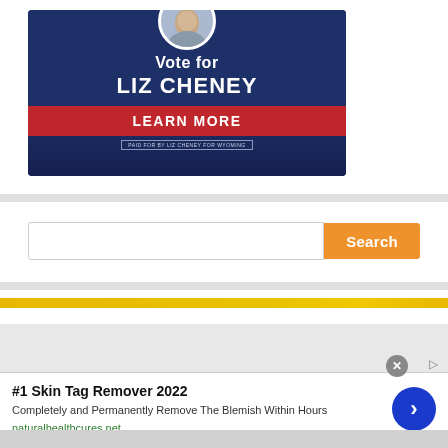[Figure (illustration): Political campaign advertisement for Liz Cheney with dark blue background, circular portrait photo at top, text 'Vote for LIZ CHENEY', red bar with 'LEARN MORE', and disclaimer 'PAID FOR BY LIZ CHENEY FOR WYOMING']
[Figure (screenshot): Search bar with empty text input field and orange 'Search' button]
[Figure (screenshot): Partial view of another advertisement with yellow/orange top bar]
[Figure (advertisement): Ad overlay: '#1 Skin Tag Remover 2022 - Completely and Permanently Remove The Blemish Within Hours - naturalhealthcures.net' with close button and blue arrow button]